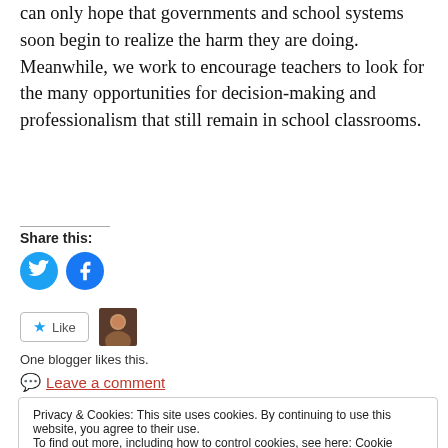can only hope that governments and school systems soon begin to realize the harm they are doing. Meanwhile, we work to encourage teachers to look for the many opportunities for decision-making and professionalism that still remain in school classrooms.
Share this:
[Figure (illustration): Twitter and Facebook share icon buttons (blue circles with white logos)]
[Figure (illustration): Like button with star icon and blogger avatar photo]
One blogger likes this.
Leave a comment
Privacy & Cookies: This site uses cookies. By continuing to use this website, you agree to their use. To find out more, including how to control cookies, see here: Cookie Policy
Close and accept